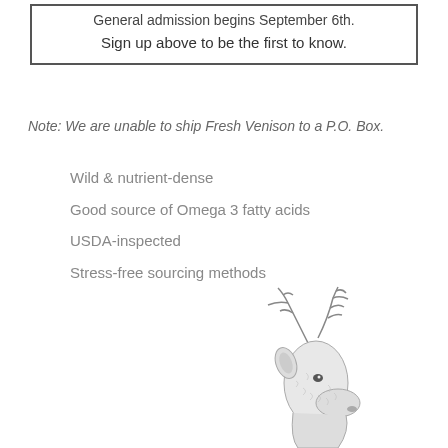General admission begins September 6th. Sign up above to be the first to know.
Note: We are unable to ship Fresh Venison to a P.O. Box.
Wild & nutrient-dense
Good source of Omega 3 fatty acids
USDA-inspected
Stress-free sourcing methods
[Figure (illustration): Pencil sketch illustration of a deer (buck) head and neck with antlers, facing right, in a realistic detailed style.]